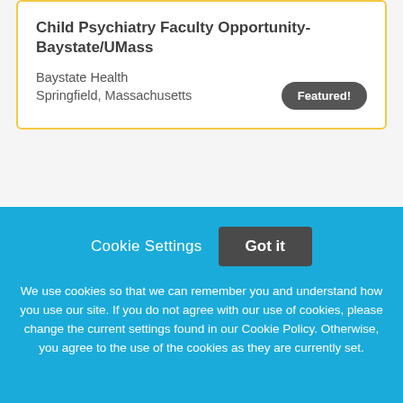Child Psychiatry Faculty Opportunity- Baystate/UMass
Baystate Health
Springfield, Massachusetts
Featured!
[Figure (logo): PERMANENTE MEDICINE logo text in blue and grey]
Cookie Settings
Got it
We use cookies so that we can remember you and understand how you use our site. If you do not agree with our use of cookies, please change the current settings found in our Cookie Policy. Otherwise, you agree to the use of the cookies as they are currently set.